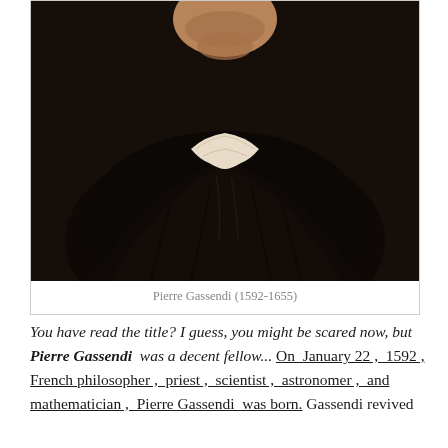[Figure (photo): Oil portrait painting of Pierre Gassendi, showing a man in dark robes with a white collar against a very dark background. The figure is visible from approximately the shoulders up, with the face cropped at the top of the image.]
Pierre Gassendi (1592-1655)
You have read the title? I guess, you might be scared now, but Pierre Gassendi was a decent fellow... On January 22 , 1592 , French philosopher , priest , scientist , astronomer , and mathematician , Pierre Gassendi was born. Gassendi revived